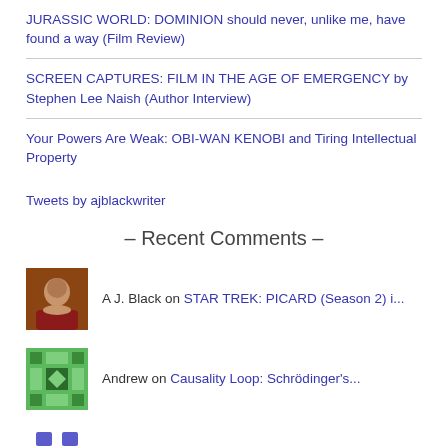JURASSIC WORLD: DOMINION should never, unlike me, have found a way (Film Review)
SCREEN CAPTURES: FILM IN THE AGE OF EMERGENCY by Stephen Lee Naish (Author Interview)
Your Powers Are Weak: OBI-WAN KENOBI and Tiring Intellectual Property
Tweets by ajblackwriter
– Recent Comments –
A J. Black on STAR TREK: PICARD (Season 2) i...
Andrew on Causality Loop: Schrödinger's...
Anna Pope on STAR TREK: PICARD (Season 2) i...
Drew on STAR TREK: PICARD (Season 2) i...